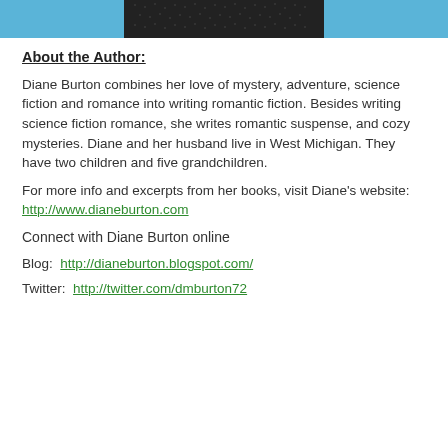[Figure (photo): Top portion of an author photo showing a dark background with blue sky, cropped at top of page]
About the Author:
Diane Burton combines her love of mystery, adventure, science fiction and romance into writing romantic fiction. Besides writing science fiction romance, she writes romantic suspense, and cozy mysteries. Diane and her husband live in West Michigan. They have two children and five grandchildren.
For more info and excerpts from her books, visit Diane’s website: http://www.dianeburton.com
Connect with Diane Burton online
Blog:  http://dianeburton.blogspot.com/
Twitter:  http://twitter.com/dmburton72